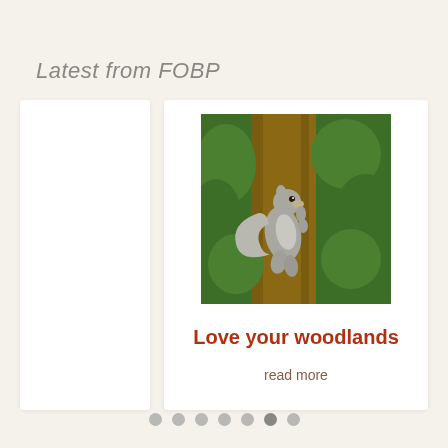Latest from FOBP
[Figure (photo): A grey squirrel climbing up the trunk of a tree, with green foliage in the background]
Love your woodlands
read more